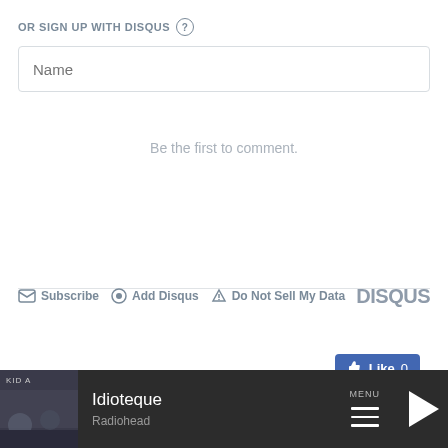OR SIGN UP WITH DISQUS ?
Name
Be the first to comment.
Subscribe  Add Disqus  Do Not Sell My Data  DISQUS
[Figure (screenshot): Social share icons: Facebook, Twitter, LinkedIn, Email, Share, Pinterest; and a Facebook Like button showing 0 likes]
[Figure (screenshot): Music player bar at bottom showing 'Idioteque' by Radiohead with album art (Kid A), menu/hamburger icon, and play button]